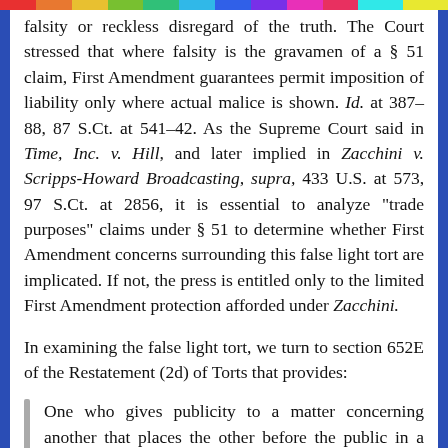falsity or reckless disregard of the truth. The Court stressed that where falsity is the gravamen of a § 51 claim, First Amendment guarantees permit imposition of liability only where actual malice is shown. Id. at 387–88, 87 S.Ct. at 541–42. As the Supreme Court said in Time, Inc. v. Hill, and later implied in Zacchini v. Scripps-Howard Broadcasting, supra, 433 U.S. at 573, 97 S.Ct. at 2856, it is essential to analyze "trade purposes" claims under § 51 to determine whether First Amendment concerns surrounding this false light tort are implicated. If not, the press is entitled only to the limited First Amendment protection afforded under Zacchini.
In examining the false light tort, we turn to section 652E of the Restatement (2d) of Torts that provides:
One who gives publicity to a matter concerning another that places the other before the public in a false light is subject to